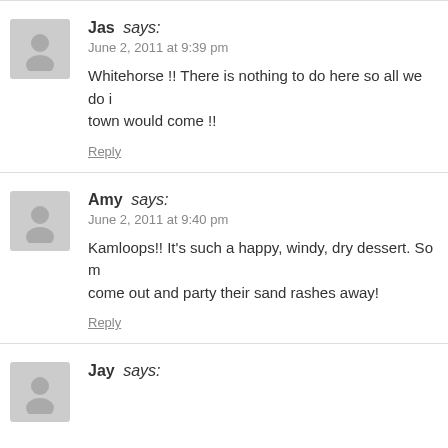Jas says: June 2, 2011 at 9:39 pm
Whitehorse !! There is nothing to do here so all we do is... town would come !!
Reply
Amy says: June 2, 2011 at 9:40 pm
Kamloops!! It's such a happy, windy, dry dessert. So m... come out and party their sand rashes away!
Reply
Jay says: